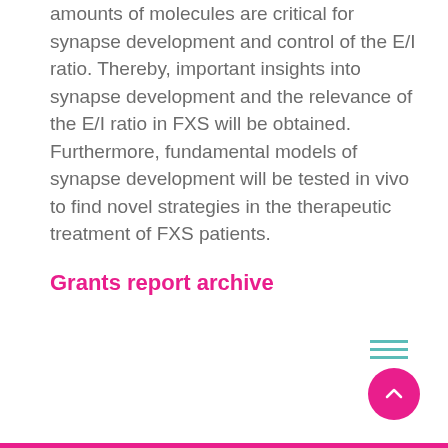amounts of molecules are critical for synapse development and control of the E/I ratio. Thereby, important insights into synapse development and the relevance of the E/I ratio in FXS will be obtained. Furthermore, fundamental models of synapse development will be tested in vivo to find novel strategies in the therapeutic treatment of FXS patients.
Grants report archive